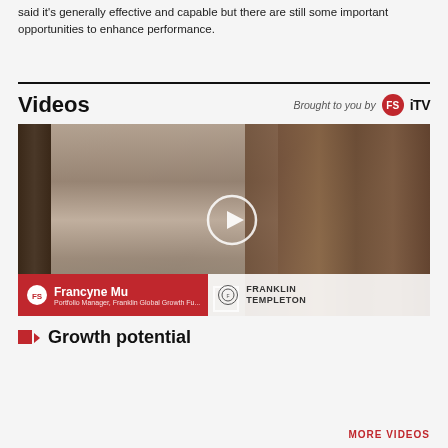said it's generally effective and capable but there are still some important opportunities to enhance performance.
Videos
Brought to you by FS iTV
[Figure (screenshot): Video thumbnail showing Francyne Mu, Portfolio Manager at Franklin Global Growth Fund, seated in front of wooden panel background with play button overlay. Lower bar shows her name and Franklin Templeton logo.]
Growth potential
MORE VIDEOS